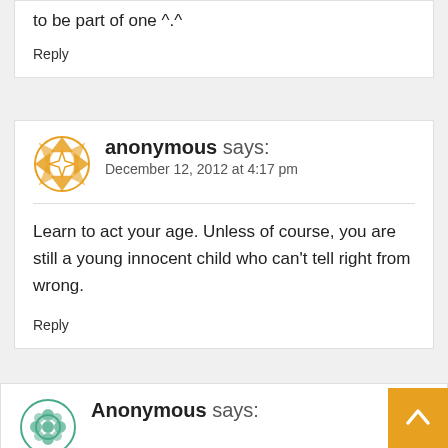to be part of one ^.^
Reply
anonymous says: December 12, 2012 at 4:17 pm
Learn to act your age. Unless of course, you are still a young innocent child who can't tell right from wrong.
Reply
Anonymous says: